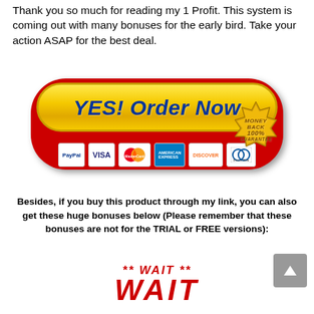Thank you so much for reading my 1 Profit. This system is coming out with many bonuses for the early bird. Take your action ASAP for the best deal.
[Figure (illustration): Yellow 'YES! Order Now' button on red oval background with 100% Money Back Guarantee gold badge, and payment icons (PayPal, Visa, MasterCard, American Express, Discover, Diners Club) below]
Besides, if you buy this product through my link, you can also get these huge bonuses below (Please remember that these bonuses are not for the TRIAL or FREE versions):
** WAIT **
WAIT